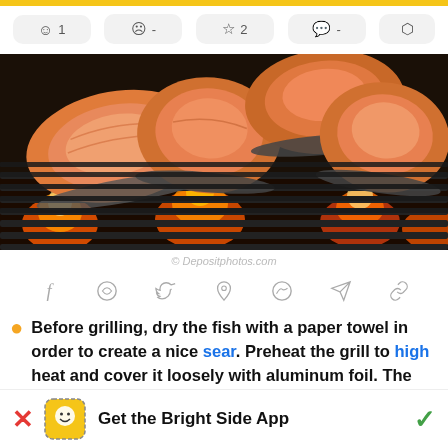reaction bar: 😊 1, 😞 -, ☆ 2, 💬 -, share
[Figure (photo): Several raw salmon steaks on a grill with flames visible underneath]
© Depositphotos.com
[Figure (infographic): Social sharing icons row: Facebook, WhatsApp, Twitter, Pinterest, Messenger, Telegram, Link]
Before grilling, dry the fish with a paper towel in order to create a nice sear. Preheat the grill to high heat and cover it loosely with aluminum foil. The high temperatures will cause any debris
Get the Bright Side App